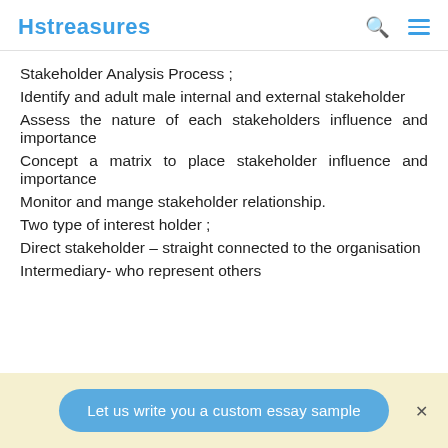Hstreasures
Stakeholder Analysis Process ;
Identify and adult male internal and external stakeholder
Assess the nature of each stakeholders influence and importance
Concept a matrix to place stakeholder influence and importance
Monitor and mange stakeholder relationship.
Two type of interest holder ;
Direct stakeholder – straight connected to the organisation
Intermediary- who represent others
Let us write you a custom essay sample